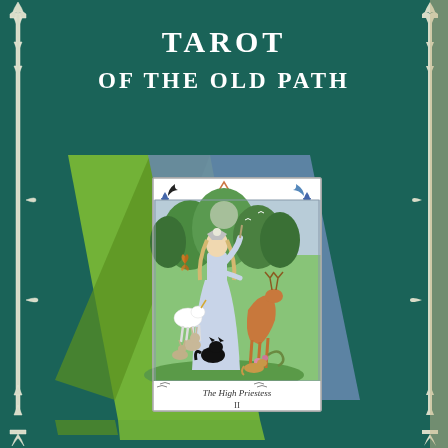TAROT
OF THE OLD PATH
[Figure (illustration): Book cover for 'Tarot of the Old Path' showing a tarot card depicting The High Priestess (card II) surrounded by animals including a deer, black cat, unicorn, and rabbits, with moons and a triangle symbol. The card is set against green and blue geometric shapes on a dark teal background with decorative white column motifs.]
The High Priestess
II